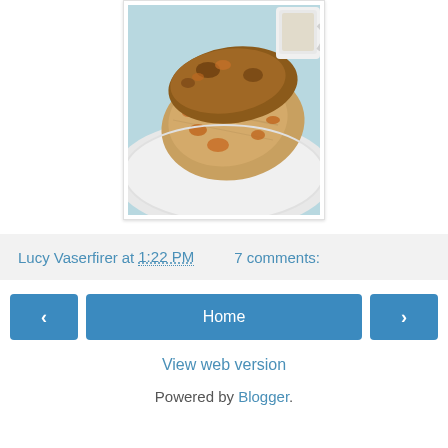[Figure (photo): A scone with dried apricot pieces on a white plate, with a coffee cup in the background. Close-up food photography.]
Lucy Vaserfirer at 1:22 PM   7 comments:
‹
Home
›
View web version
Powered by Blogger.